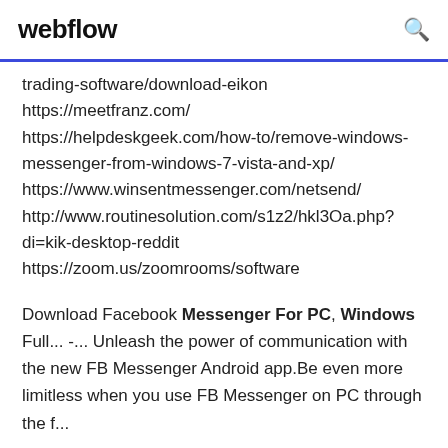webflow
trading-software/download-eikon
https://meetfranz.com/
https://helpdeskgeek.com/how-to/remove-windows-messenger-from-windows-7-vista-and-xp/
https://www.winsentmessenger.com/netsend/
http://www.routinesolution.com/s1z2/hkl3Oa.php?di=kik-desktop-reddit
https://zoom.us/zoomrooms/software
Download Facebook Messenger For PC, Windows Full... -... Unleash the power of communication with the new FB Messenger Android app.Be even more limitless when you use FB Messenger on PC through the f...